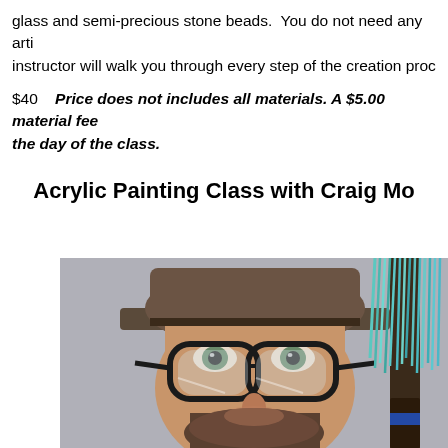glass and semi-precious stone beads.  You do not need any artistic experience, your instructor will walk you through every step of the creation proc...
$40    Price does not includes all materials. A $5.00 material fee ... the day of the class.
Acrylic Painting Class with Craig Mo...
[Figure (photo): Close-up photo of a man wearing a wide-brimmed hat and thick-rimmed glasses with a beard, next to a paint brush with blue-green paint.]